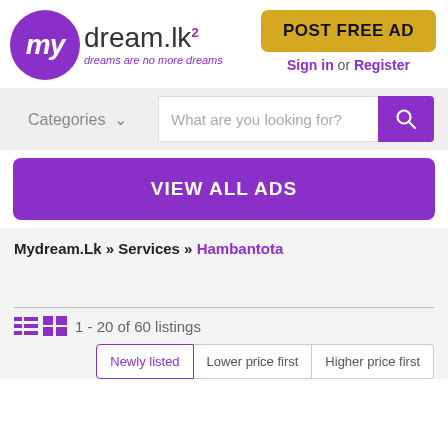[Figure (logo): mydream.lk logo with purple circle containing 'my' in white italic, followed by 'dream.lk' text and tagline 'dreams are no more dreams']
POST FREE AD
Sign in or Register
Categories  What are you looking for?
VIEW ALL ADS
Mydream.Lk » Services » Hambantota
1 - 20 of 60 listings
Newly listed  Lower price first  Higher price first